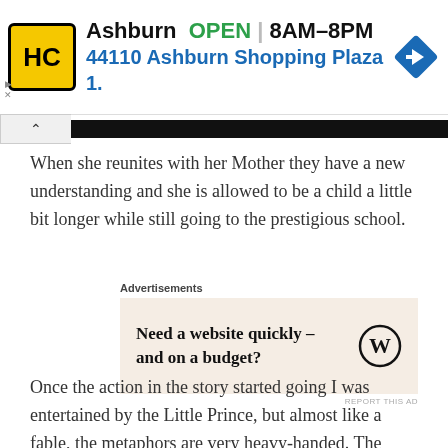[Figure (infographic): Advertisement banner for Haircut place in Ashburn. Yellow/black HC logo, showing OPEN status 8AM-8PM, address 44110 Ashburn Shopping Plaza 1., with a blue diamond turn-by-turn navigation arrow icon.]
When she reunites with her Mother they have a new understanding and she is allowed to be a child a little bit longer while still going to the prestigious school.
[Figure (infographic): WordPress advertisement. Label: Advertisements. Beige background box with text 'Need a website quickly – and on a budget?' and WordPress W logo. REPORT THIS AD link below.]
Once the action in the story started going I was entertained by the Little Prince, but almost like a fable, the metaphors are very heavy-handed. The Businessman clearly is meant to symbolize the Mother and her routine for Little Girl (they even have a similar chalkboard with